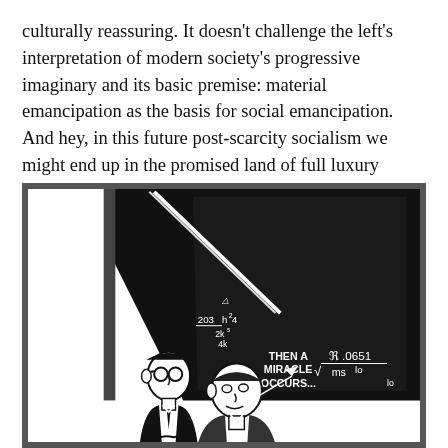culturally reassuring. It doesn't challenge the left's interpretation of modern society's progressive imaginary and its basic premise: material emancipation as the basis for social emancipation. And hey, in this future post-scarcity socialism we might end up in the promised land of full luxury automated communism. Or not.
[Figure (illustration): Black and white cartoon illustration showing two figures (professors/academics) in front of a large blackboard covered in formulas and equations. Text on the blackboard reads 'THEN A MIRACLE OCCURS...' with mathematical notations including '203', 'h²4', '2k⁵', '.0651', 'ms', and other formula fragments.]